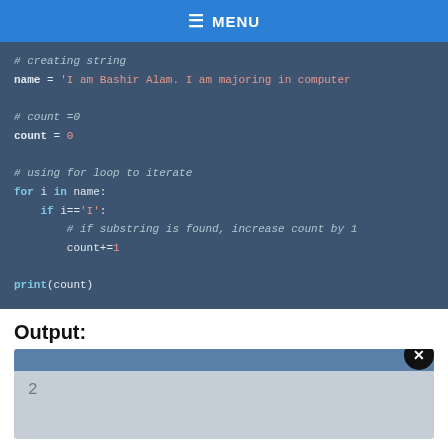≡ MENU
[Figure (screenshot): Python code block with syntax highlighting showing string creation, a count variable, a for loop iterating over a string, and a print statement.]
Output:
[Figure (screenshot): Output terminal showing the value 2]